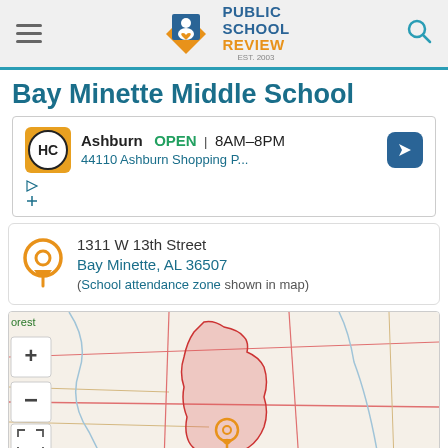Public School Review - EST. 2003
Bay Minette Middle School
[Figure (screenshot): Advertisement for a business in Ashburn: OPEN 8AM-8PM, 44110 Ashburn Shopping P..., with HC logo and navigation arrow]
1311 W 13th Street
Bay Minette, AL 36507
(School attendance zone shown in map)
[Figure (map): Map showing Bay Minette Middle School location at 1311 W 13th Street, Bay Minette, AL 36507. Shows school attendance zone highlighted in red/pink on a street map. Map controls include zoom in (+), zoom out (-), and fullscreen buttons. Partial text 'orest' visible in green at top left, and 'Blackwater' partially visible at bottom right.]